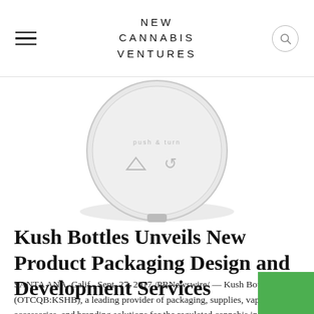NEW CANNABIS VENTURES
[Figure (photo): Top-down view of a round white cannabis product container lid with child-resistant symbols]
Kush Bottles Unveils New Product Packaging Design and Development Services
SANTA ANA, Calif., Sept. 27, 2017 /PRNewswire/ — Kush Bottles, Inc. (OTCQB:KSHB), a leading provider of packaging, supplies, vaporizers, accessories, and branding solutions for the regulated cannabis industry, announced...